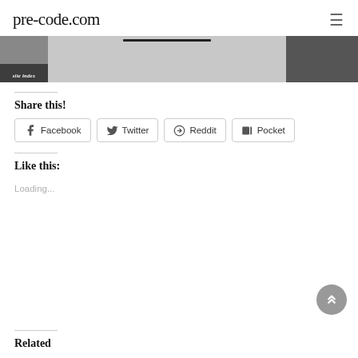pre-code.com
[Figure (photo): Navigation banner with left thumbnail (site index label), center dark bar, right thumbnail of a person]
Share this!
Facebook Twitter Reddit Pocket
Like this:
Loading...
Related